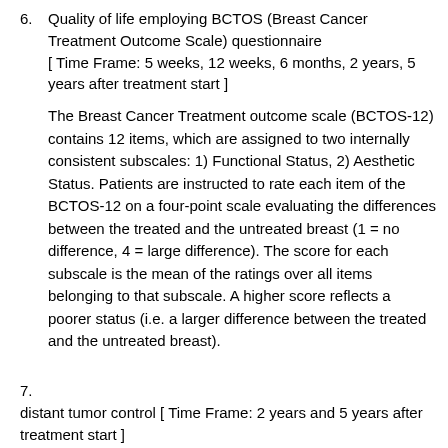6. Quality of life employing BCTOS (Breast Cancer Treatment Outcome Scale) questionnaire [ Time Frame: 5 weeks, 12 weeks, 6 months, 2 years, 5 years after treatment start ]
The Breast Cancer Treatment outcome scale (BCTOS-12) contains 12 items, which are assigned to two internally consistent subscales: 1) Functional Status, 2) Aesthetic Status. Patients are instructed to rate each item of the BCTOS-12 on a four-point scale evaluating the differences between the treated and the untreated breast (1 = no difference, 4 = large difference). The score for each subscale is the mean of the ratings over all items belonging to that subscale. A higher score reflects a poorer status (i.e. a larger difference between the treated and the untreated breast).
7. distant tumor control [ Time Frame: 2 years and 5 years after treatment start ]